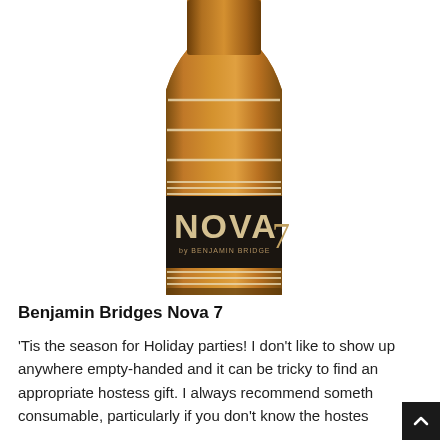[Figure (photo): A wine bottle with amber/dark brown glass, featuring a dark label with 'NOVA by BENJAMIN BRIDGE 7' printed on it. The bottle has decorative horizontal stripe lines in cream/white on it. Only the top portion and body of the bottle are visible, cropped at the bottom.]
Benjamin Bridges Nova 7
'Tis the season for Holiday parties! I don't like to show up anywhere empty-handed and it can be tricky to find an appropriate hostess gift. I always recommend someth consumable, particularly if you don't know the hostes